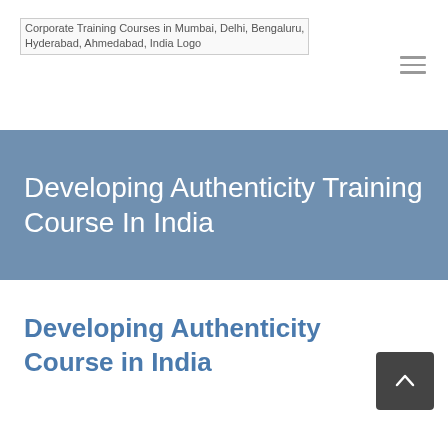Corporate Training Courses in Mumbai, Delhi, Bengaluru, Hyderabad, Ahmedabad, India Logo
Developing Authenticity Training Course In India
Developing Authenticity Course in India